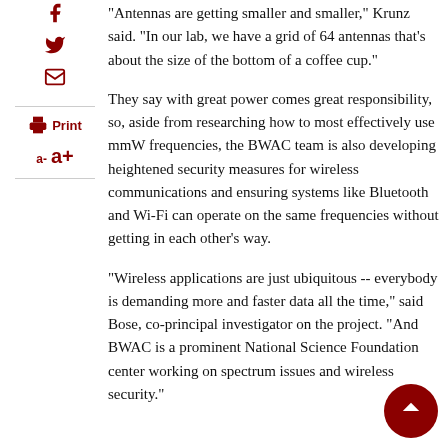“Antennas are getting smaller and smaller,” Krunz said. “In our lab, we have a grid of 64 antennas that’s about the size of the bottom of a coffee cup.”
They say with great power comes great responsibility, so, aside from researching how to most effectively use mmW frequencies, the BWAC team is also developing heightened security measures for wireless communications and ensuring systems like Bluetooth and Wi-Fi can operate on the same frequencies without getting in each other’s way.
“Wireless applications are just ubiquitous -- everybody is demanding more and faster data all the time,” said Bose, co-principal investigator on the project. “And BWAC is a prominent National Science Foundation center working on spectrum issues and wireless security.”